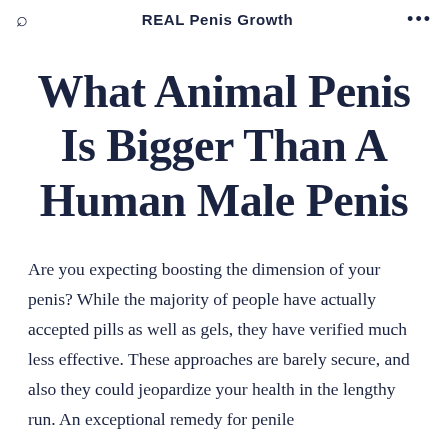REAL Penis Growth
What Animal Penis Is Bigger Than A Human Male Penis
Are you expecting boosting the dimension of your penis? While the majority of people have actually accepted pills as well as gels, they have verified much less effective. These approaches are barely secure, and also they could jeopardize your health in the lengthy run. An exceptional remedy for penile